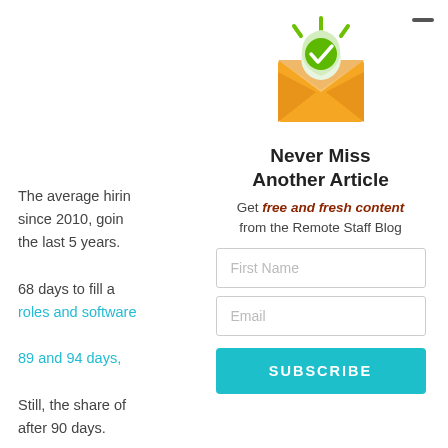The average hiring process has increased since 2010, going from 13 days to over the last 5 years. 68 days to fill a roles and software 89 and 94 days, Still, the share of after 90 days. With competitors quickly, the recru
[Figure (illustration): Email subscription widget with envelope icon, green checkmark shield, and rays indicating notification. Below: 'Never Miss Another Article', tagline, First Name field, Email field, and teal SUBSCRIBE button.]